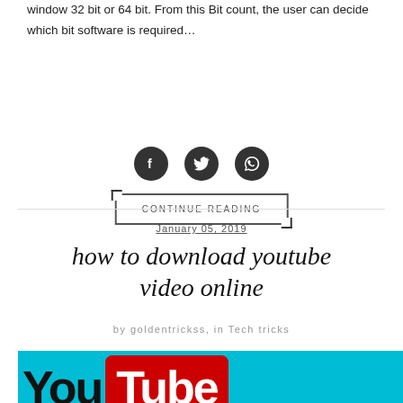window 32 bit or 64 bit. From this Bit count, the user can decide which bit software is required...
CONTINUE READING
[Figure (illustration): Social share icons: Facebook, Twitter, WhatsApp — dark grey circles with white icons]
January 05, 2019
how to download youtube video online
by goldentrickss, in Tech tricks
[Figure (illustration): YouTube logo on teal/cyan background showing 'You' in black bold text and 'Tube' in white bold text on red rounded rectangle]